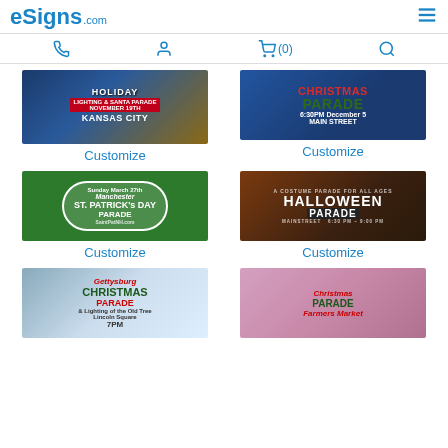eSigns.com
[Figure (screenshot): Navigation icons: phone, person/account, shopping cart (0), search]
[Figure (photo): Holiday Lighting & Santa Parade November 19th Kansas City banner]
Customize
[Figure (photo): Christmas Parade 6:30PM December 5 Main Street banner]
Customize
[Figure (photo): Sunday March 27th Manchester St. Patrick's Day Parade SaintPatNH.com banner]
Customize
[Figure (photo): A Costume Parade For All Ages Halloween Parade Mainstreet banner]
Customize
[Figure (photo): Gettysburg Christmas Parade & Lighting of the Old Tree Lincoln Square 7PM banner]
[Figure (photo): Christmas Parade Farmers Market banner]